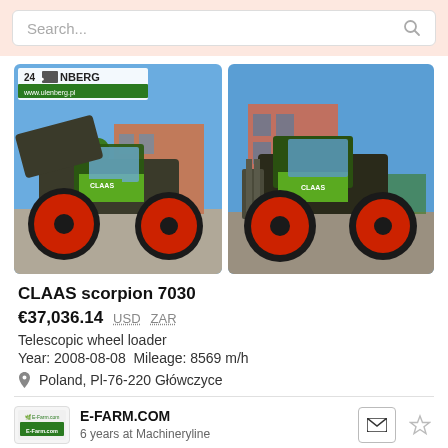Search...
[Figure (photo): CLAAS Scorpion 7030 telescopic wheel loader, left-side view, green/black machine with red wheels, parked in a lot, Ulenberg dealer watermark overlay]
[Figure (photo): CLAAS Scorpion 7030 telescopic wheel loader, front-right view, green/black machine with red wheels, parked on paved area, blue sky background]
CLAAS scorpion 7030
€37,036.14  USD  ZAR
Telescopic wheel loader
Year: 2008-08-08  Mileage: 8569 m/h
Poland, Pl-76-220 Główczyce
E-FARM.COM
6 years at Machineryline